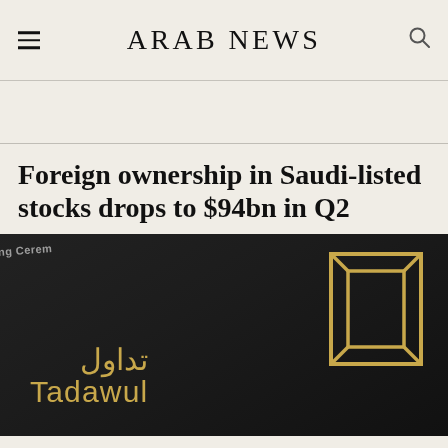ARAB NEWS
Foreign ownership in Saudi-listed stocks drops to $94bn in Q2
[Figure (photo): Tadawul (Saudi Exchange) signage with Arabic and English logo in gold on a dark building facade, with 'ng Ceremo' text visible in upper left corner]